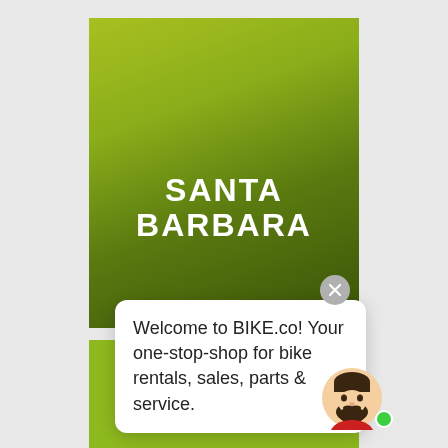[Figure (screenshot): Mobile app screenshot showing two green gradient blocks. Top block has 'SANTA BARBARA' in bold white uppercase text. Bottom block shows 'SAN MARCOS' in bold white uppercase text. A chat bubble overlays: 'Welcome to BIKE.co! Your one-stop-shop for bike rentals, sales, parts & service.' A close (X) button and a bearded avatar with online indicator dot are visible.]
SANTA BARBARA
Welcome to BIKE.co! Your one-stop-shop for bike rentals, sales, parts & service.
SAN MARCOS